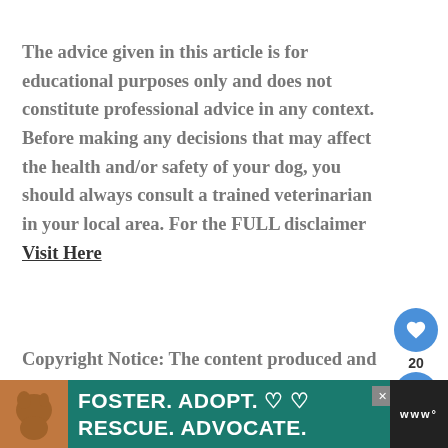The advice given in this article is for educational purposes only and does not constitute professional advice in any context. Before making any decisions that may affect the health and/or safety of your dog, you should always consult a trained veterinarian in your local area. For the FULL disclaimer Visit Here
Copyright Notice: The content produced and published on My Happy Husky is unique and original. My Happy Husky makes no te...
[Figure (other): Advertisement banner: Foster. Adopt. Rescue. Advocate. with dog photo on teal background]